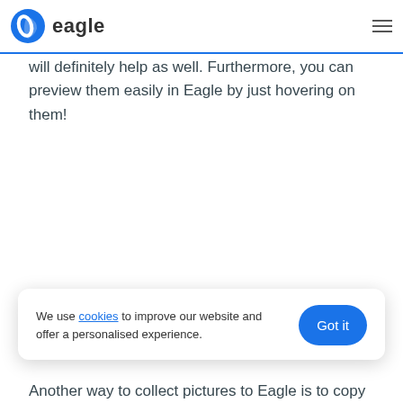eagle
will definitely help as well. Furthermore, you can preview them easily in Eagle by just hovering on them!
We use cookies to improve our website and offer a personalised experience.
Another way to collect pictures to Eagle is to copy